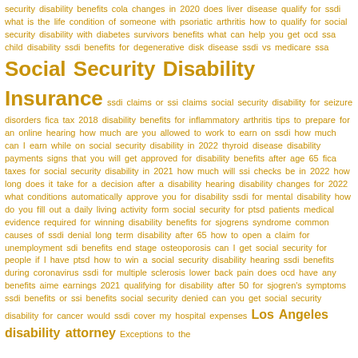security disability benefits cola changes in 2020 does liver disease qualify for ssdi what is the life condition of someone with psoriatic arthritis how to qualify for social security disability with diabetes survivors benefits what can help you get ocd ssa child disability ssdi benefits for degenerative disk disease ssdi vs medicare ssa Social Security Disability Insurance ssdi claims or ssi claims social security disability for seizure disorders fica tax 2018 disability benefits for inflammatory arthritis tips to prepare for an online hearing how much are you allowed to work to earn on ssdi how much can I earn while on social security disability in 2022 thyroid disease disability payments signs that you will get approved for disability benefits after age 65 fica taxes for social security disability in 2021 how much will ssi checks be in 2022 how long does it take for a decision after a disability hearing disability changes for 2022 what conditions automatically approve you for disability ssdi for mental disability how do you fill out a daily living activity form social security for ptsd patients medical evidence required for winning disability benefits for sjogrens syndrome common causes of ssdi denial long term disability after 65 how to open a claim for unemployment sdi benefits end stage osteoporosis can I get social security for people if I have ptsd how to win a social security disability hearing ssdi benefits during coronavirus ssdi for multiple sclerosis lower back pain does ocd have any benefits aime earnings 2021 qualifying for disability after 50 for sjogren's symptoms ssdi benefits or ssi benefits social security denied can you get social security disability for cancer would ssdi cover my hospital expenses Los Angeles disability attorney Exceptions to the